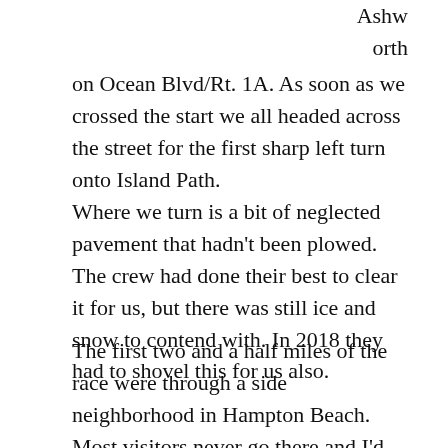Ashworth on Ocean Blvd/Rt. 1A. As soon as we crossed the start we all headed across the street for the first sharp left turn onto Island Path.
Where we turn is a bit of neglected pavement that hadn't been plowed. The crew had done their best to clear it for us, but there was still ice and snow to contend with. In 2018 they had to shovel this for us also.
The first two and a half miles of the race were through a side neighborhood in Hampton Beach. Most visitors never go there and I'd only been through there a few times for races.